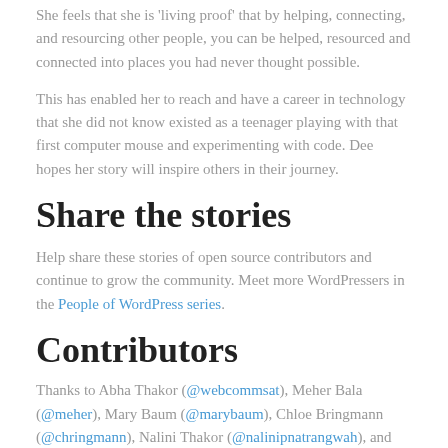She feels that she is 'living proof' that by helping, connecting, and resourcing other people, you can be helped, resourced and connected into places you had never thought possible.
This has enabled her to reach and have a career in technology that she did not know existed as a teenager playing with that first computer mouse and experimenting with code. Dee hopes her story will inspire others in their journey.
Share the stories
Help share these stories of open source contributors and continue to grow the community. Meet more WordPressers in the People of WordPress series.
Contributors
Thanks to Abha Thakor (@webcommsat), Meher Bala (@meher), Mary Baum (@marybaum), Chloe Bringmann (@chringmann), Nalini Thakor (@nalinipnatrangwah), and